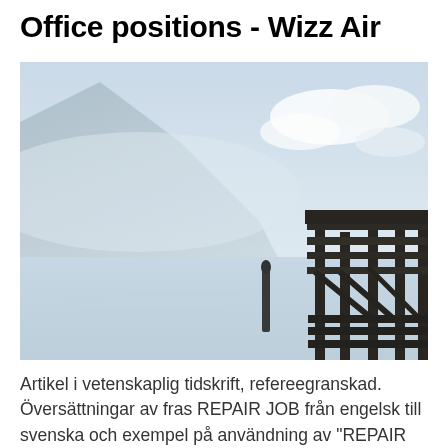Office positions - Wizz Air
[Figure (photo): A misty lakeside scene with mountains in the background and a wooden dock/pier structure on the right side. The water is calm and reflective, sky is light blue-grey with clouds.]
Artikel i vetenskaplig tidskrift, refereegranskad. Översättningar av fras REPAIR JOB från engelsk till svenska och exempel på användning av "REPAIR